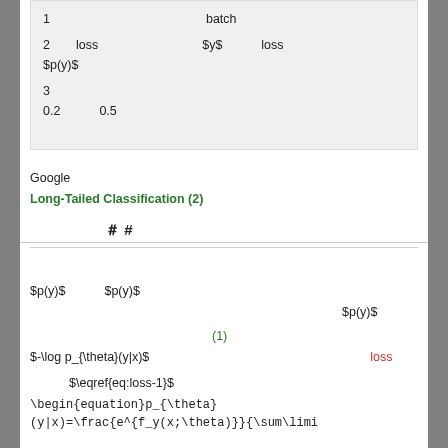1　　　　　　　　　　　　batch
2　loss　　　　　　　　$y$　　　loss　　　　　　　　$p(y)$
3　　　　　　　　　　　　　　　　　　　　　　　　　　　　　　　　　　　0.2　　0.5
Google　　　　　　　　　　　　　　　　　　　　　　　　　　　　　　　Long-Tailed Classification (2)
#
$p(y)$　　　$p(y)$　　　　　　　　　　　　　　　　　　　　　　　　$p(y)$
(1)　　　　　　　　　　　　　　　　　　　　　　　　　　　　　　　　　　　　　　　　　　　　　$-\log p_{\theta}(y|x)$　　　　　　　　　　loss
$\eqref{eq:loss-1}$